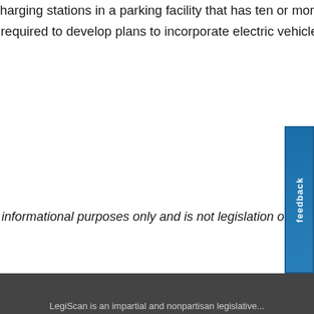After January 1, 2023, prohibits the installation of electric vehicle charging stations in a parking facility that has ten or more parking stalls, unless housing corporations, homeowners associations are required to develop plans to incorporate electric vehicle charging stations in facilities newly constructed after January 1, 20...
The summary description of legislation appearing on this page is for informational purposes only and is not legislation or evidence of legislative intent.
[Figure (other): Feedback button - vertical blue button on right side of page with white rotated text reading 'feedback']
LegiScan is an impartial and nonpartisan legislative...